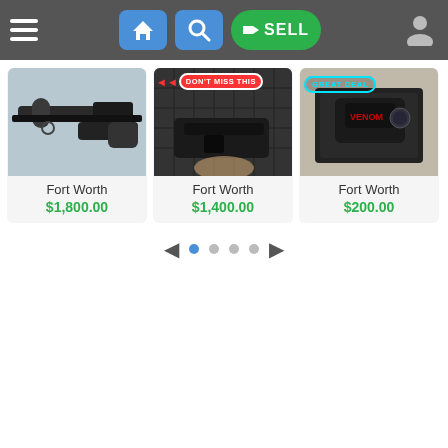[Figure (screenshot): Mobile app navigation bar with hamburger menu, home button, search button, green SELL button, and user profile icon on dark gray background]
[Figure (photo): Rifle with scope on light background - Fort Worth listing at $1,800.00]
Fort Worth
$1,800.00
[Figure (photo): AR-style lower receiver and accessories in hard case - Fort Worth listing at $1,400.00, with DON'T MISS THIS badge]
Fort Worth
$1,400.00
[Figure (photo): Vortex Venom red dot sight in box - Fort Worth listing at $200.00, with GREAT DEAL badge]
Fort Worth
$200.00